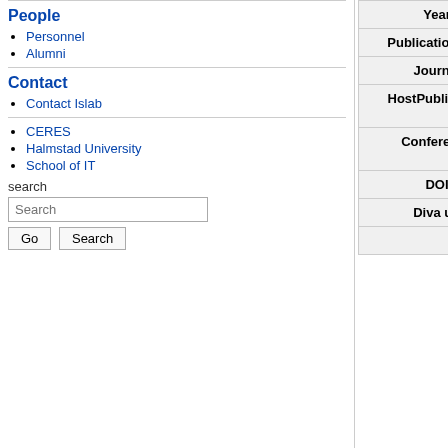People
Personnel
Alumni
Contact
Contact Islab
CERES
Halmstad University
School of IT
search
| Field | Value |
| --- | --- |
| Year | 2007 |
| PublicationType | Conference Paper |
| Journal |  |
| HostPublication | MICAI 2007: Advances in Artificial Intelligence : 6th Mexican International Conference on Artificial Intelligence, Aguascalientes, Mexico, November 4-10, 2007. Proceedings |
| Conference | 6th Mexican International Conference on Artificial Intelligence, Aguascalientes, Mexico, November 4-10, 2007 |
| DOI | http://dx.doi.org/10.1007/978-3-540-76631-5_34 |
| Diva url | http://hh.diva-portal.org/smash/record.jsf?searchId=1&pid=diva2:587659 |
| Abstract | We study agents situated in partially observable environments, who do not have |